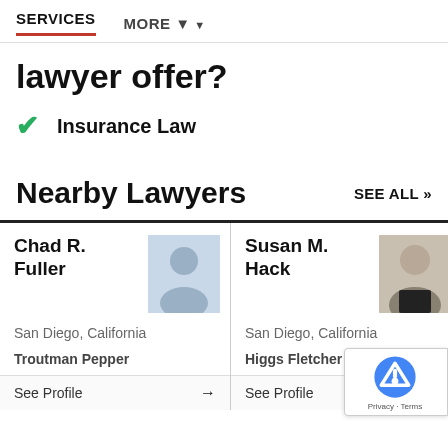SERVICES   MORE ▼
lawyer offer?
✔ Insurance Law
Nearby Lawyers
SEE ALL »
| Lawyer | Location | Firm | Action |
| --- | --- | --- | --- |
| Chad R. Fuller | San Diego, California | Troutman Pepper | See Profile → |
| Susan M. Hack | San Diego, California | Higgs Fletcher & Mack L... | See Profile → |